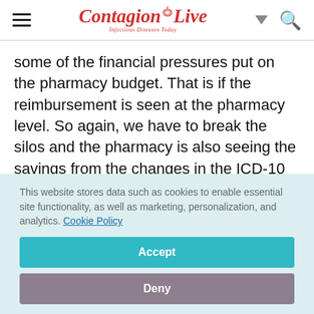ContagionLive — Infectious Diseases Today
some of the financial pressures put on the pharmacy budget. That is if the reimbursement is seen at the pharmacy level. So again, we have to break the silos and the pharmacy is also seeing the savings from the changes in the ICD-10 codes.
This website stores data such as cookies to enable essential site functionality, as well as marketing, personalization, and analytics. Cookie Policy
Accept
Deny